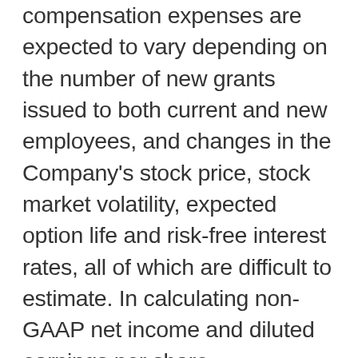compensation expenses are expected to vary depending on the number of new grants issued to both current and new employees, and changes in the Company's stock price, stock market volatility, expected option life and risk-free interest rates, all of which are difficult to estimate. In calculating non-GAAP net income and diluted earnings per share, management excludes share-based compensation expenses to facilitate its review of the comparability of the Company's operating performance on a period-to-period basis because such expenses are not, in management's review, related to the